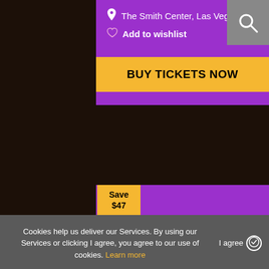[Figure (screenshot): Dark background of a venue/theater interior]
The Smith Center, Las Vegas
Add to wishlist
BUY TICKETS NOW
Save $47
Nathan Burton Tickets Online
Duration: 75 min
Price: from $13
Save Theater, Miracle Mile
Cookies help us deliver our Services. By using our Services or clicking I agree, you agree to our use of cookies. Learn more
I agree